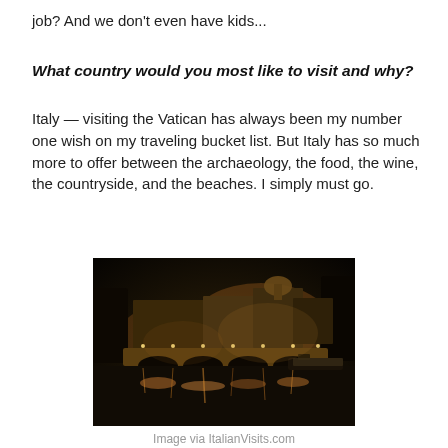job?  And we don't even have kids...
What country would you most like to visit and why?
Italy — visiting the Vatican has always been my number one wish on my traveling bucket list.  But Italy has so much more to offer between the archaeology, the food, the wine, the countryside, and the beaches.  I simply must go.
[Figure (photo): Nighttime photo of Rome, showing a bridge over the Tiber river with golden lights reflecting on the water and St. Peter's Basilica dome visible in the background.]
Image via ItalianVisits.com